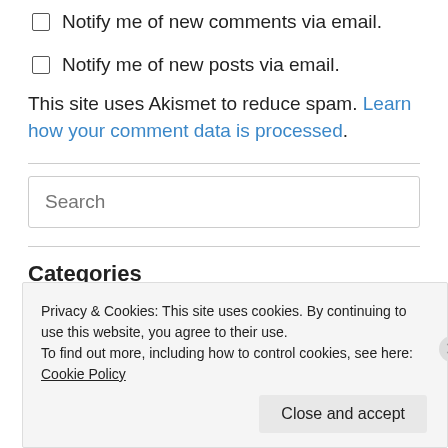Notify me of new comments via email.
Notify me of new posts via email.
This site uses Akismet to reduce spam. Learn how your comment data is processed.
[Figure (other): Search input box with placeholder text 'Search']
Categories
Privacy & Cookies: This site uses cookies. By continuing to use this website, you agree to their use.
To find out more, including how to control cookies, see here: Cookie Policy